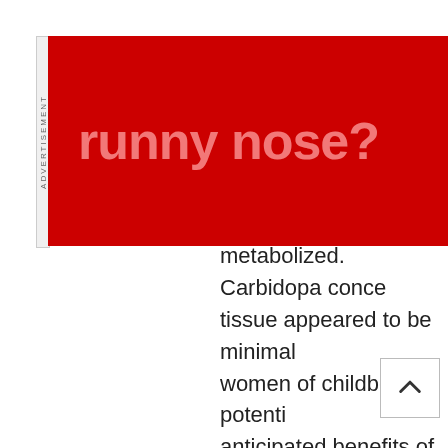[Figure (other): Red advertisement banner with text 'runny nose?' in large bold light-red text on a dark red background. Side label reads 'ADVERTISEMENT'.]
metabolized. Carbidopa conce tissue appeared to be minimal women of childbearing potenti anticipated benefits of the dru against possible hazards to mo
Nursing Mothers
Levodopa has been detected i Caution should be exercised w administered to a nursing wom